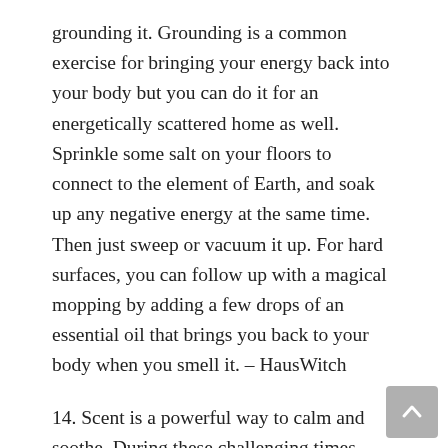grounding it. Grounding is a common exercise for bringing your energy back into your body but you can do it for an energetically scattered home as well. Sprinkle some salt on your floors to connect to the element of Earth, and soak up any negative energy at the same time. Then just sweep or vacuum it up. For hard surfaces, you can follow up with a magical mopping by adding a few drops of an essential oil that brings you back to your body when you smell it. – HausWitch
14. Scent is a powerful way to calm and soothe. During these challenging times where many people are working and learning remotely, your home can retain odors you'd prefer not to have